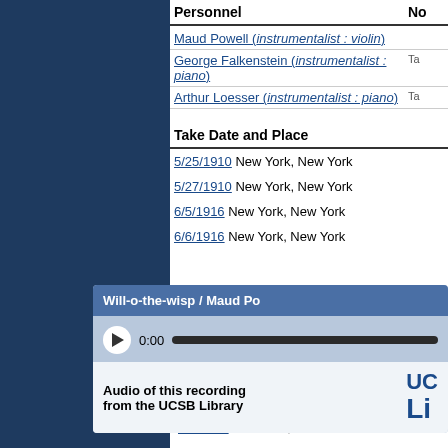| Personnel | No |
| --- | --- |
| Maud Powell (instrumentalist : violin) |  |
| George Falkenstein (instrumentalist : piano) | Ta |
| Arthur Loesser (instrumentalist : piano) | Ta |
Take Date and Place
5/25/1910 New York, New York
5/27/1910 New York, New York
6/5/1916 New York, New York
6/6/1916 New York, New York
[Figure (screenshot): Audio player widget showing 'Will-o-the-wisp / Maud Po...' with play button, 0:00 time display, progress bar, and UCSB Library audio link]
6/6/1916 New York, New York